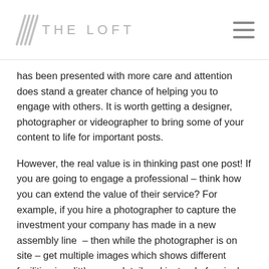THE LOFT
has been presented with more care and attention does stand a greater chance of helping you to engage with others. It is worth getting a designer, photographer or videographer to bring some of your content to life for important posts.
However, the real value is in thinking past one post! If you are going to engage a professional – think how you can extend the value of their service? For example, if you hire a photographer to capture the investment your company has made in a new assembly line  – then while the photographer is on site – get multiple images which shows different facilities in a little more detail and instead of a single post – create a small campaign from these 6-8 images. This will help